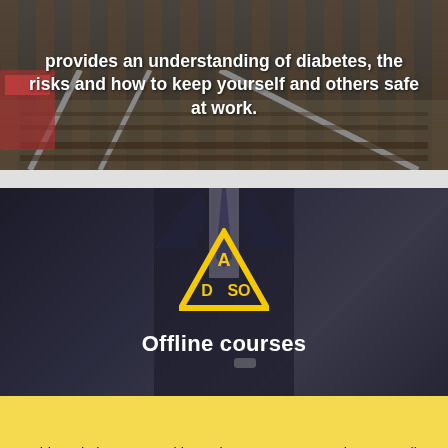[Figure (photo): Railway tracks background with white bold text overlay about diabetes course for frontline workers]
provides an understanding of diabetes, the risks and how to keep yourself and others safe at work.
[Figure (photo): Dark image of a suited man with ADSO yellow triangle logo and text 'Offline courses']
This website uses cookies to improve your experience. We'll assume you're ok with this, but you can opt-out if you wish.